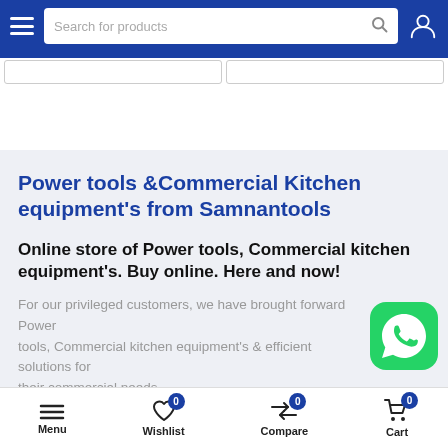Search for products
Power tools &Commercial Kitchen equipment's from Samnantools
Online store of Power tools, Commercial kitchen equipment's. Buy online. Here and now!
For our privileged customers, we have brought forward Power tools, Commercial kitchen equipment's & efficient solutions for their commercial needs.
Menu | Wishlist 0 | Compare 0 | Cart 0